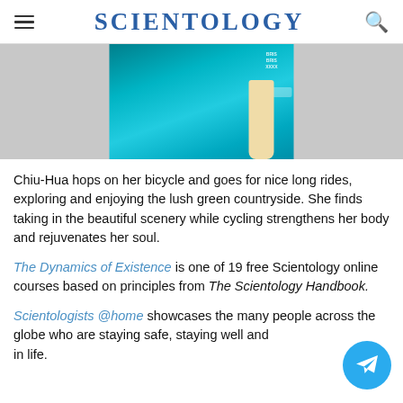SCIENTOLOGY
[Figure (photo): Photo of a person wearing a teal/cyan sports shirt, partially visible, holding what appears to be a cricket bat. Background is blurred.]
Chiu-Hua hops on her bicycle and goes for nice long rides, exploring and enjoying the lush green countryside. She finds taking in the beautiful scenery while cycling strengthens her body and rejuvenates her soul.
The Dynamics of Existence is one of 19 free Scientology online courses based on principles from The Scientology Handbook.
Scientologists @home showcases the many people across the globe who are staying safe, staying well and thriving in life.